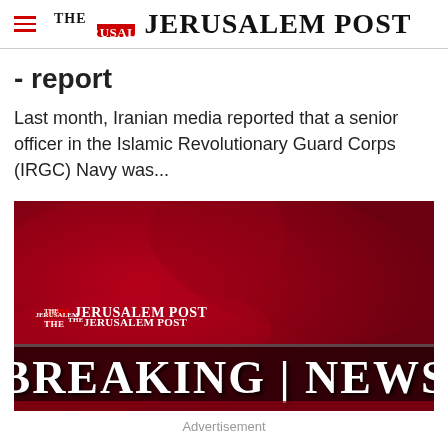THE JERUSALEM POST
- report
Last month, Iranian media reported that a senior officer in the Islamic Revolutionary Guard Corps (IRGC) Navy was...
[Figure (screenshot): The Jerusalem Post Breaking News banner image with red background]
Advertisement